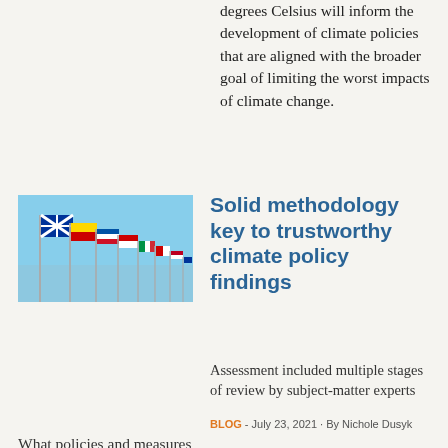degrees Celsius will inform the development of climate policies that are aligned with the broader goal of limiting the worst impacts of climate change.
[Figure (photo): Row of international flags on poles against a blue sky]
Solid methodology key to trustworthy climate policy findings
Assessment included multiple stages of review by subject-matter experts
BLOG - July 23, 2021 - By Nichole Dusyk
What policies and measures